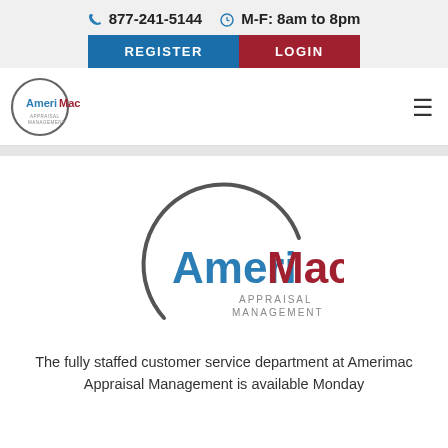877-241-5144  M-F: 8am to 8pm
REGISTER  LOGIN
[Figure (logo): AmeriMac Appraisal Management logo (small, in navigation bar) — circle outline with 'AmeriMac' text in blue and red, and 'APPRAISAL MANAGEMENT' below]
[Figure (logo): AmeriMac Appraisal Management logo (large, centered on page) — partial circle outline with 'AmeriMac' text in blue and red, and 'APPRAISAL MANAGEMENT' in gray below]
The fully staffed customer service department at Amerimac Appraisal Management is available Monday